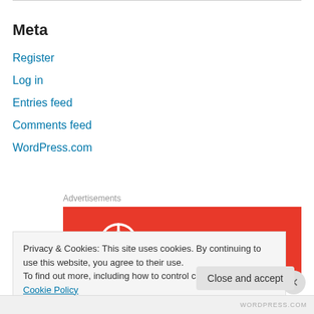Meta
Register
Log in
Entries feed
Comments feed
WordPress.com
Advertisements
[Figure (logo): Pocket Casts logo on red background with white headphone/signal icon and white bold text 'Pocket Casts']
Privacy & Cookies: This site uses cookies. By continuing to use this website, you agree to their use.
To find out more, including how to control cookies, see here: Cookie Policy
Close and accept